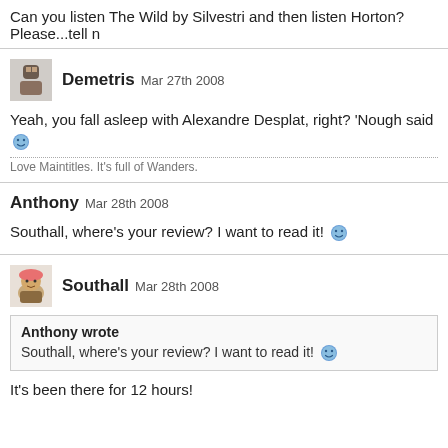Can you listen The Wild by Silvestri and then listen Horton? Please...tell n
Demetris Mar 27th 2008
Yeah, you fall asleep with Alexandre Desplat, right? 'Nough said 🙂
Love Maintitles. It's full of Wanders.
Anthony Mar 28th 2008
Southall, where's your review? I want to read it! 🙂
Southall Mar 28th 2008
Anthony wrote
Southall, where's your review? I want to read it! 🙂
It's been there for 12 hours!